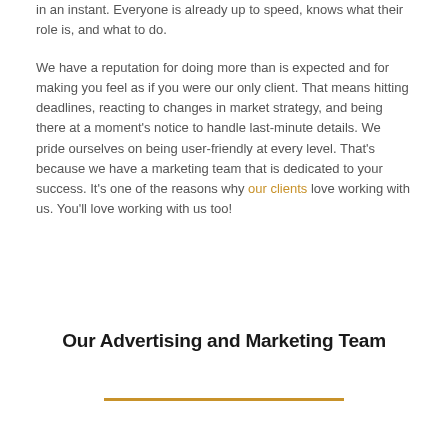in an instant. Everyone is already up to speed, knows what their role is, and what to do.
We have a reputation for doing more than is expected and for making you feel as if you were our only client. That means hitting deadlines, reacting to changes in market strategy, and being there at a moment's notice to handle last-minute details. We pride ourselves on being user-friendly at every level. That's because we have a marketing team that is dedicated to your success. It's one of the reasons why our clients love working with us. You'll love working with us too!
Our Advertising and Marketing Team